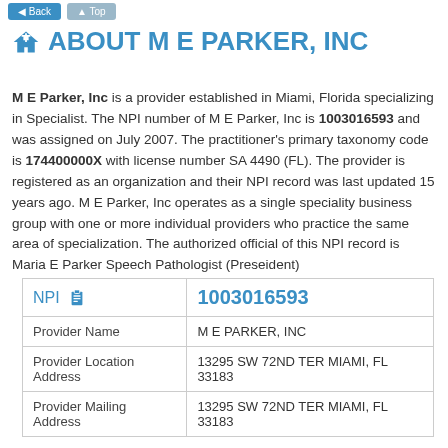[navigation buttons]
ABOUT M E PARKER, INC
M E Parker, Inc is a provider established in Miami, Florida specializing in Specialist. The NPI number of M E Parker, Inc is 1003016593 and was assigned on July 2007. The practitioner's primary taxonomy code is 174400000X with license number SA 4490 (FL). The provider is registered as an organization and their NPI record was last updated 15 years ago. M E Parker, Inc operates as a single speciality business group with one or more individual providers who practice the same area of specialization. The authorized official of this NPI record is Maria E Parker Speech Pathologist (Preseident)
| NPI | 1003016593 |
| --- | --- |
| Provider Name | M E PARKER, INC |
| Provider Location Address | 13295 SW 72ND TER MIAMI, FL 33183 |
| Provider Mailing Address | 13295 SW 72ND TER MIAMI, FL 33183 |